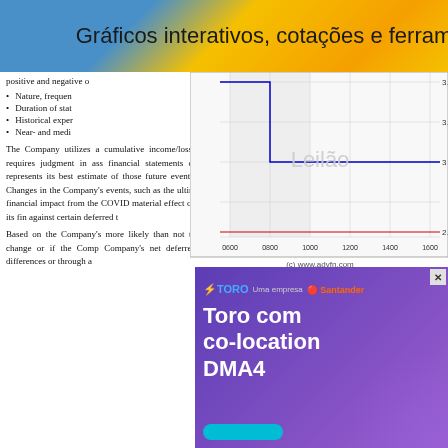Gráficos interativos, cotações e ferram
positive and negative o
Nature, frequen
Duration of stat
Historical exper
Near- and medi
The Company utilizes a cumulative income/losses requires judgment in ass financial statements or represents its best estimate of those future events. Changes in the Company's events, such as the ultimate financial impact from the COVID material effect on its fin against certain deferred t
Based on the Company's more likely than not to change or if the Comp Company's net deferred differences or through a
[Figure (continuous-plot): Stock price chart showing auction (Leilão) data. Blue step line drops from ~3.04 area then stabilizes around 3.00, red horizontal line at 2.98. X-axis shows times 0600, 0800, 1000, 1200, 1400, 1600. Y-axis shows 2.98, 3, 3.02, 3.04. Watermark text 'Leilão' in center. Caption: (c) www.advfn.com]
[Figure (infographic): Toro co-location DMA4 advertisement with purple gradient background. Toro | Uma empresa Santander logo at top. Bold white text reads 'Toro com co-location DMA4'. Person visible at right side.]